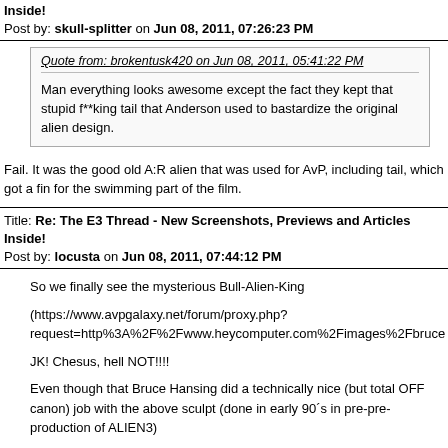Inside!
Post by: skull-splitter on Jun 08, 2011, 07:26:23 PM
Quote from: brokentusk420 on Jun 08, 2011, 05:41:22 PM

Man everything looks awesome except the fact they kept that stupid f**king tail that Anderson used to bastardize the original alien design.
Fail. It was the good old A:R alien that was used for AvP, including tail, which got a fin for the swimming part of the film.
Title: Re: The E3 Thread - New Screenshots, Previews and Articles Inside!
Post by: locusta on Jun 08, 2011, 07:44:12 PM
So we finally see the mysterious Bull-Alien-King

(https://www.avpgalaxy.net/forum/proxy.php?request=http%3A%2F%2Fwww.heycomputer.com%2Fimages%2Fbruce

JK! Chesus, hell NOT!!!!

Even though that Bruce Hansing did a technically nice (but total OFF canon) job with the above sculpt (done in early 90´s in pre-pre-production of ALIEN3)